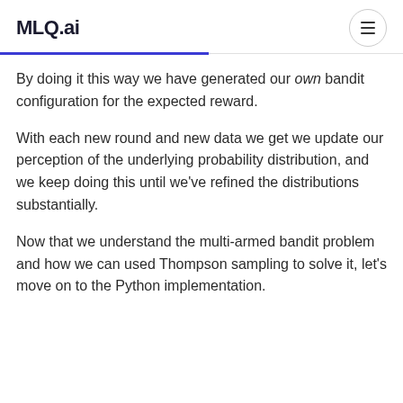MLQ.ai
By doing it this way we have generated our own bandit configuration for the expected reward.
With each new round and new data we get we update our perception of the underlying probability distribution, and we keep doing this until we’ve refined the distributions substantially.
Now that we understand the multi-armed bandit problem and how we can used Thompson sampling to solve it, let’s move on to the Python implementation.